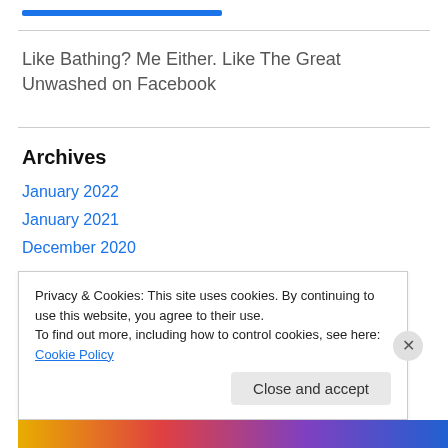Like Bathing? Me Either. Like The Great Unwashed on Facebook
Archives
January 2022
January 2021
December 2020
Privacy & Cookies: This site uses cookies. By continuing to use this website, you agree to their use.
To find out more, including how to control cookies, see here: Cookie Policy
Close and accept